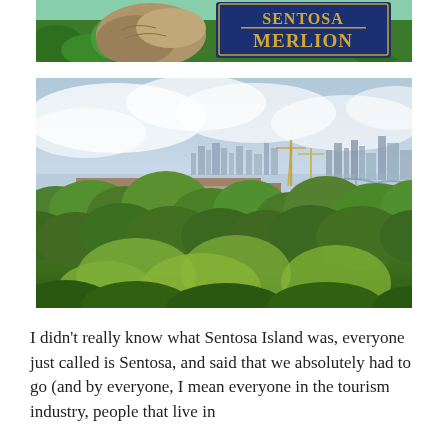[Figure (photo): Top photo showing the Sentosa Merlion attraction sign with rock formations and tropical greenery visible at top of page]
[Figure (photo): Large photo of Sentosa Island panoramic view showing lush tropical trees and vegetation in foreground, with Singapore city skyline, buildings, cranes and waterway visible in background under a cloudy sky]
I didn't really know what Sentosa Island was, everyone just called is Sentosa, and said that we absolutely had to go (and by everyone, I mean everyone in the tourism industry, people that live in